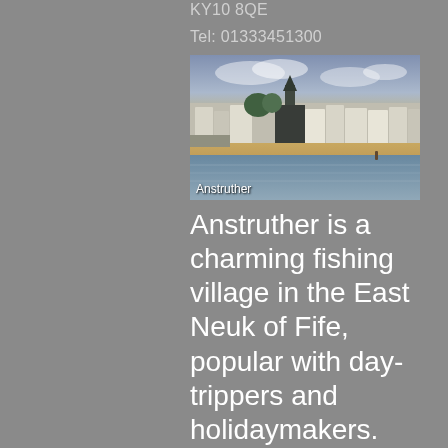KY10 8QE
Tel: 01333451300
[Figure (photo): Panoramic photo of Anstruther harbour and village with white buildings, church steeple, sandy beach and water in the foreground under a partly cloudy sky. Caption 'Anstruther' overlaid bottom-left.]
Anstruther is a charming fishing village in the East Neuk of Fife, popular with day-trippers and holidaymakers. Located south of St Andrews, Anstruther is the largest of the pretty, old-fashioned fishing villages along the East Neuk. Look out for puffins, seals